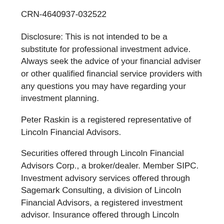CRN-4640937-032522
Disclosure: This is not intended to be a substitute for professional investment advice. Always seek the advice of your financial adviser or other qualified financial service providers with any questions you may have regarding your investment planning.
Peter Raskin is a registered representative of Lincoln Financial Advisors.
Securities offered through Lincoln Financial Advisors Corp., a broker/dealer. Member SIPC. Investment advisory services offered through Sagemark Consulting, a division of Lincoln Financial Advisors, a registered investment advisor. Insurance offered through Lincoln affiliates and other fine companies. Raskin Planning Group is not an affiliate of Lincoln Financial Advisors.